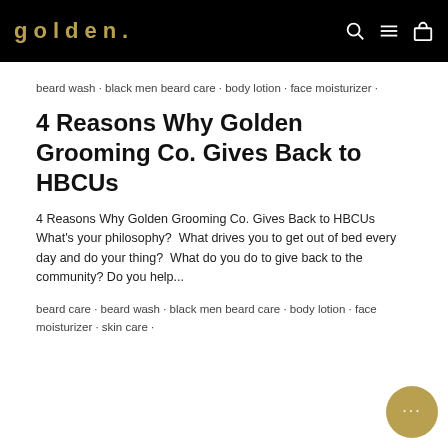golden.
beard wash · black men beard care · body lotion · face moisturizer ·
4 Reasons Why Golden Grooming Co. Gives Back to HBCUs
4 Reasons Why Golden Grooming Co. Gives Back to HBCUs What's your philosophy?  What drives you to get out of bed every day and do your thing?  What do you do to give back to the community? Do you help...
beard care · beard wash · black men beard care · body lotion · face moisturizer · skin care ·